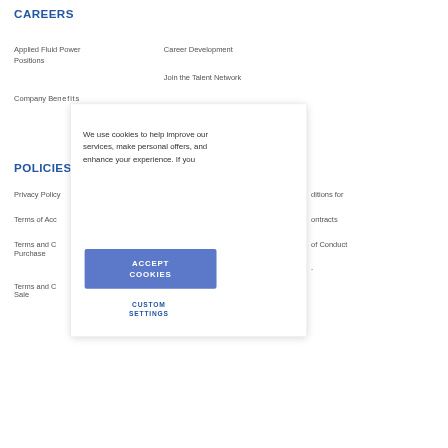CAREERS
Applied Fluid Power Positions
Career Development
Join the Talent Network
Company Benefits
POLICIES
Privacy Policy
Terms of Acc...
Terms and C... Purchase
Terms and C... Sale
...ditions for ...ontracts
...of Conduct
We use cookies to help improve our services, make personal offers, and enhance your experience. If you...
ACCEPT COOKIES
CUSTOM SETTINGS